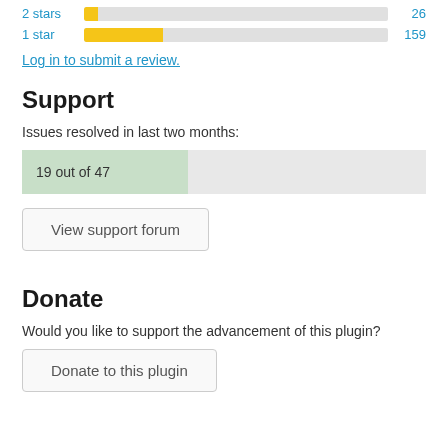[Figure (bar-chart): Star ratings]
Log in to submit a review.
Support
Issues resolved in last two months:
[Figure (infographic): Progress bar showing 19 out of 47 issues resolved]
View support forum
Donate
Would you like to support the advancement of this plugin?
Donate to this plugin